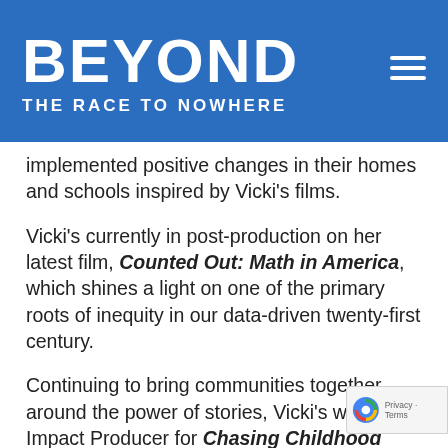[Figure (logo): BEYOND THE RACE TO NOWHERE logo with hamburger menu icon on blue background]
implemented positive changes in their homes and schools inspired by Vicki's films.
Vicki's currently in post-production on her latest film, Counted Out: Math in America, which shines a light on one of the primary roots of inequity in our data-driven twenty-first century.
Continuing to bring communities together around the power of stories, Vicki's work Impact Producer for Chasing Childhood High School 2.1 has helped to build new...